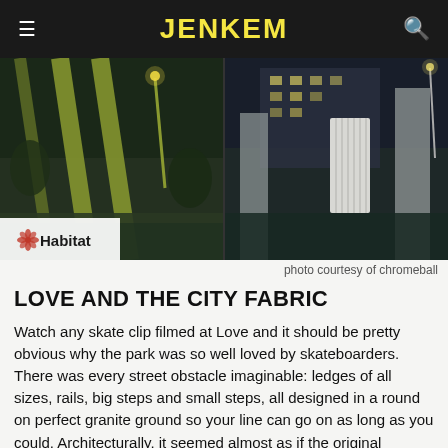JENKEM
[Figure (photo): Night-time urban plaza scene with architectural structures, columns, and city lights. Habitat skateboarding logo visible in bottom-left corner. Photo split into two panels.]
photo courtesy of chromeball
LOVE AND THE CITY FABRIC
Watch any skate clip filmed at Love and it should be pretty obvious why the park was so well loved by skateboarders. There was every street obstacle imaginable: ledges of all sizes, rails, big steps and small steps, all designed in a round on perfect granite ground so your line can go on as long as you could. Architecturally, it seemed almost as if the original masterminds behind the park, city planner Edmund Bacon and architect Vincent Kling, had skateboarding in mind when they drew out the